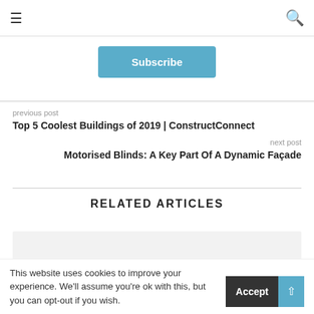≡  🔍
Subscribe
previous post
Top 5 Coolest Buildings of 2019 | ConstructConnect
next post
Motorised Blinds: A Key Part Of A Dynamic Façade
RELATED ARTICLES
[Figure (other): Gray placeholder card for a related article]
This website uses cookies to improve your experience. We'll assume you're ok with this, but you can opt-out if you wish.